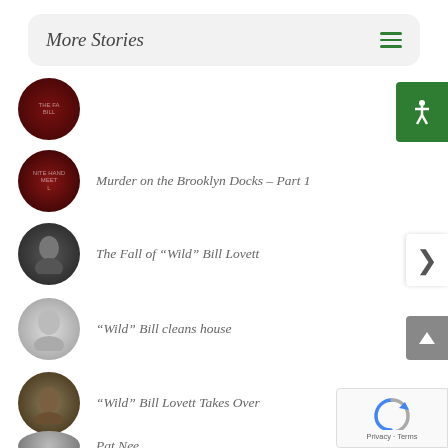More Stories
Murder on the Brooklyn Docks – Part 1
The Fall of “Wild” Bill Lovett
“Wild” Bill cleans house
“Wild” Bill Lovett Takes Over
Pat Nee